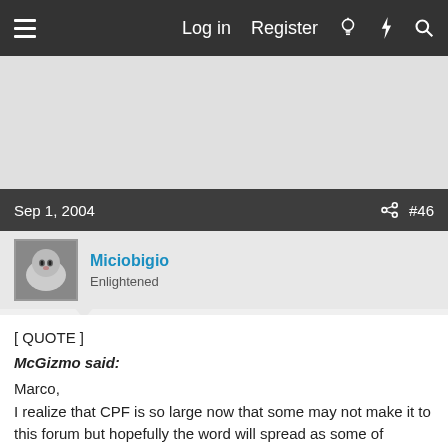Log in  Register
[Figure (other): Advertisement area (blank grey space)]
Sep 1, 2004  #46
Miciobigio
Enlightened
[ QUOTE ]
McGizmo said:
Marco,
I realize that CPF is so large now that some may not make it to this forum but hopefully the word will spread as some of thes lights get out to you guys. I did update my post in the "Modder's YellowPages" which is a sticky in the Modder's